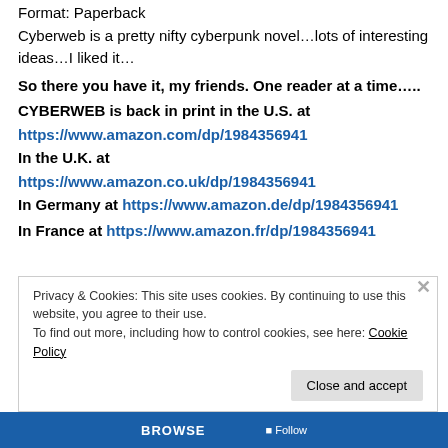Format: Paperback
Cyberweb is a pretty nifty cyberpunk novel…lots of interesting ideas…I liked it…
So there you have it, my friends. One reader at a time…..
CYBERWEB is back in print in the U.S. at https://www.amazon.com/dp/1984356941
In the U.K. at https://www.amazon.co.uk/dp/1984356941
In Germany at https://www.amazon.de/dp/1984356941
In France at https://www.amazon.fr/dp/1984356941
Privacy & Cookies: This site uses cookies. By continuing to use this website, you agree to their use. To find out more, including how to control cookies, see here: Cookie Policy
Close and accept